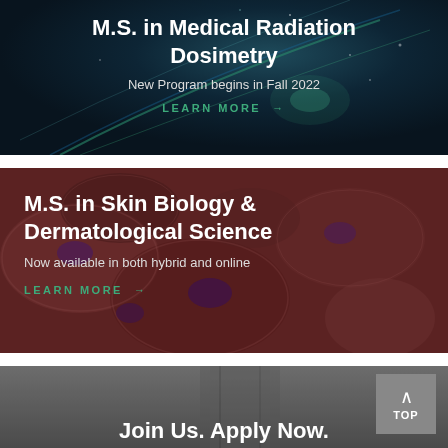[Figure (photo): Dark navy/teal abstract background with glowing light streaks for M.S. in Medical Radiation Dosimetry banner]
M.S. in Medical Radiation Dosimetry
New Program begins in Fall 2022
LEARN MORE →
[Figure (photo): Microscopic skin biology cells image with dark red/pink overlay for M.S. in Skin Biology banner]
M.S. in Skin Biology & Dermatological Science
Now available in both hybrid and online
LEARN MORE →
[Figure (photo): Gray footer background with room/corridor image, top button and Join Us Apply Now text]
Join Us. Apply Now.